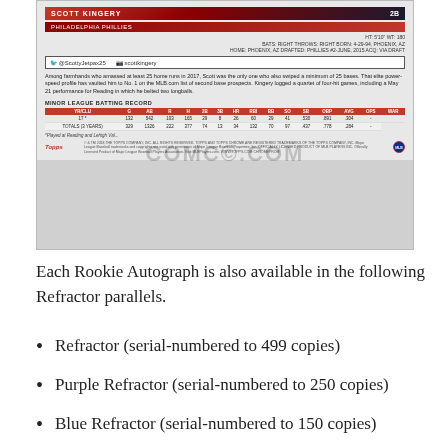[Figure (photo): Back of a Scott Kingery 2018 Topps Chrome Rookie Autograph baseball card showing player stats, bio, social media handles, and minor league batting record table. A COMC.com watermark overlays the card.]
Each Rookie Autograph is also available in the following Refractor parallels.
Refractor (serial-numbered to 499 copies)
Purple Refractor (serial-numbered to 250 copies)
Blue Refractor (serial-numbered to 150 copies)